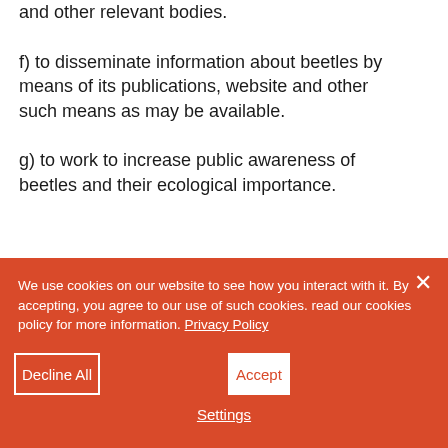f) to disseminate information about beetles by means of its publications, website and other such means as may be available.
g) to work to increase public awareness of beetles and their ecological importance.
We use cookies on our website to see how you interact with it. By accepting, you agree to our use of such cookies. read our cookies policy for more information. Privacy Policy
Decline All
Accept
Settings